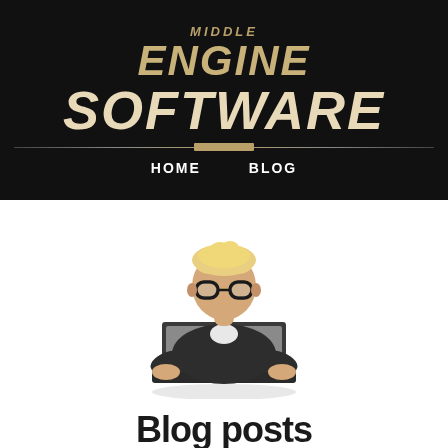MIDDLE ENGINE SOFTWARE
HOME   BLOG
[Figure (illustration): Flat style illustration of a person with short blonde hair and black glasses, wearing a dark sweater, sitting and working on a laptop computer.]
Blog posts